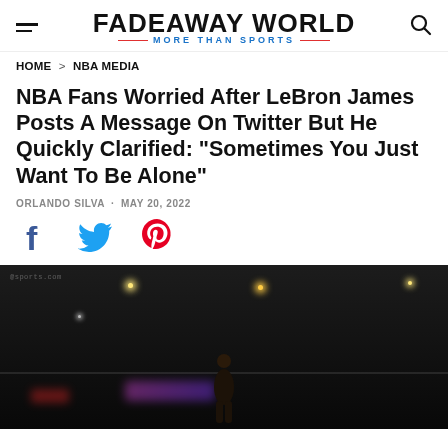FADEAWAY WORLD — MORE THAN SPORTS
HOME > NBA MEDIA
NBA Fans Worried After LeBron James Posts A Message On Twitter But He Quickly Clarified: "Sometimes You Just Want To Be Alone"
ORLANDO SILVA · MAY 20, 2022
[Figure (other): Social share icons: Facebook, Twitter, Pinterest]
[Figure (photo): Dark basketball arena photo with a player on the court, arena lights visible in background, purple and red lighting effects near court floor]